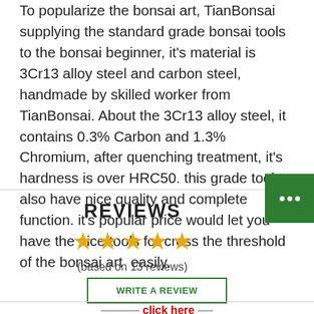To popularize the bonsai art, TianBonsai supplying the standard grade bonsai tools to the bonsai beginner, it's material is 3Cr13 alloy steel and carbon steel, handmade by skilled worker from TianBonsai. About the 3Cr13 alloy steel, it contains 0.3% Carbon and 1.3% Chromium, after quenching treatment, it's hardness is over HRC50. this grade tools also have nice quality and complete function. it's popular price would let you have the nice tools for cross the threshold of the bonsai art  easily.
REVIEWS
★★★★★
(based on 13 reviews)
WRITE A REVIEW
click here